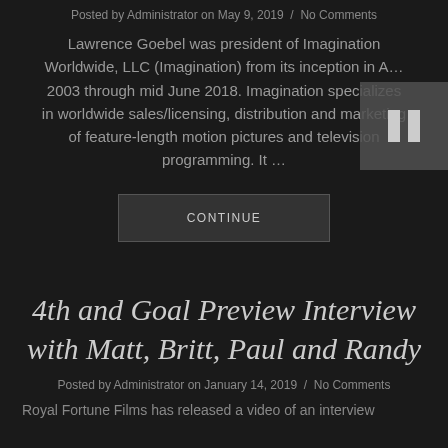Posted by Administrator on May 9, 2019 / No Comments
Lawrence Goebel was president of Imagination Worldwide, LLC (Imagination) from its inception in A... 2003 through mid June 2018. Imagination specializes in worldwide sales/licensing, distribution and marketing of feature-length motion pictures and television programming. It …
[Figure (other): Pause button overlay - grey square with two vertical white bars (pause icon)]
CONTINUE
4th and Goal Preview Interview with Matt, Britt, Paul and Randy
Posted by Administrator on January 14, 2019 / No Comments
Royal Fortune Films has released a video of an interview